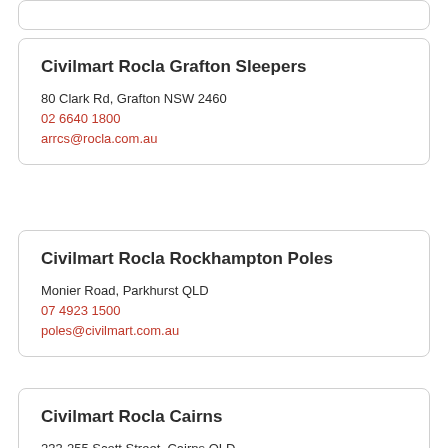(partial card at top, cut off)
Civilmart Rocla Grafton Sleepers
80 Clark Rd, Grafton NSW 2460
02 6640 1800
arrcs@rocla.com.au
Civilmart Rocla Rockhampton Poles
Monier Road, Parkhurst QLD
07 4923 1500
poles@civilmart.com.au
Civilmart Rocla Cairns
233-255 Scott Street, Cairns QLD
07 4042 3400